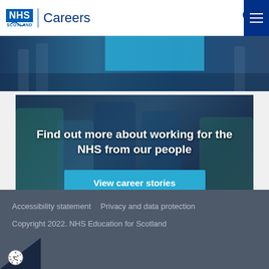NHS Scotland | Careers
[Figure (photo): Top image strip showing NHS staff in a medical/office setting with a cyan overlay block]
[Figure (photo): Banner photo of NHS healthcare workers in teal and navy uniforms standing together in a hospital corridor, with text overlay]
Find out more about working for the NHS from our people
View career stories
Accessibility statement   Privacy and data protection
Copyright 2022. NHS Education for Scotland